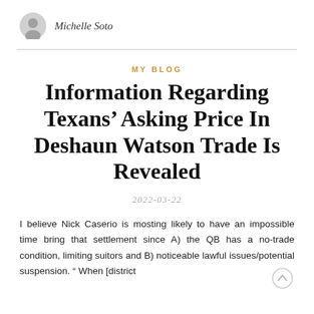Michelle Soto
MY BLOG
Information Regarding Texans’ Asking Price In Deshaun Watson Trade Is Revealed
2022-03-22
I believe Nick Caserio is mosting likely to have an impossible time bring that settlement since A) the QB has a no-trade condition, limiting suitors and B) noticeable lawful issues/potential suspension. “ When [district